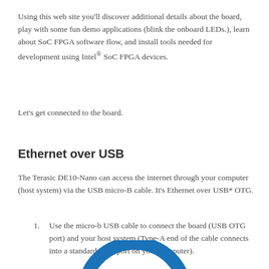Using this web site you'll discover additional details about the board, play with some fun demo applications (blink the onboard LEDs.), learn about SoC FPGA software flow, and install tools needed for development using Intel® SoC FPGA devices.
Let's get connected to the board.
Ethernet over USB
The Terasic DE10-Nano can access the internet through your computer (host system) via the USB micro-B cable. It's Ethernet over USB* OTG.
Use the micro-b USB cable to connect the board (USB OTG port) and your host system (Type-A end of the cable connects into a standard USB port on your computer).
[Figure (illustration): Partial blue arc/circle graphic at the bottom of the page, suggesting a circular connection illustration]